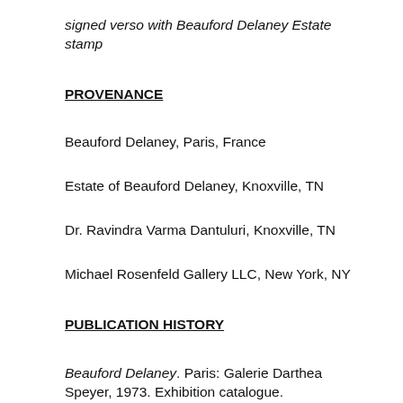signed verso with Beauford Delaney Estate stamp
PROVENANCE
Beauford Delaney, Paris, France
Estate of Beauford Delaney, Knoxville, TN
Dr. Ravindra Varma Dantuluri, Knoxville, TN
Michael Rosenfeld Gallery LLC, New York, NY
PUBLICATION HISTORY
Beauford Delaney. Paris: Galerie Darthea Speyer, 1973. Exhibition catalogue.
Illustrated in black-and-white in a photograph with the